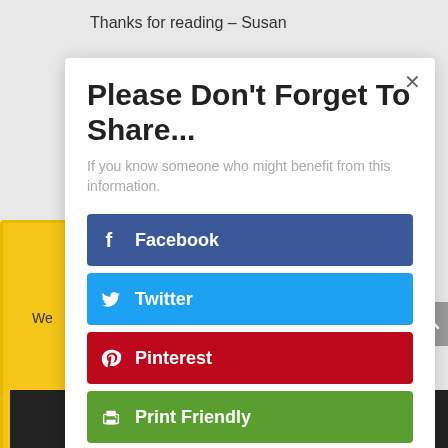Thanks for reading – Susan
[Figure (screenshot): Social share modal dialog with title 'Please Don't Forget To Share...' and buttons for Facebook, Twitter, Pinterest, Print Friendly, and LinkedIn]
Please Don't Forget To Share...
If you know someone who might benefit from this information.
Facebook
Twitter
Pinterest
Print Friendly
LinkedIn